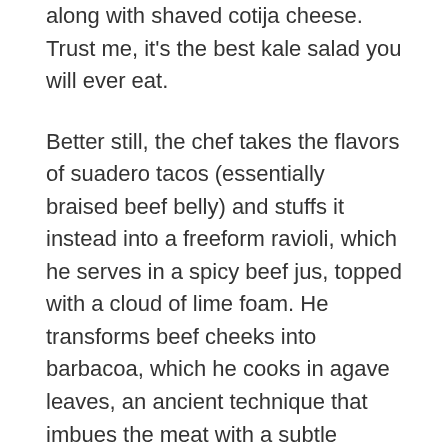along with shaved cotija cheese. Trust me, it's the best kale salad you will ever eat.
Better still, the chef takes the flavors of suadero tacos (essentially braised beef belly) and stuffs it instead into a freeform ravioli, which he serves in a spicy beef jus, topped with a cloud of lime foam. He transforms beef cheeks into barbacoa, which he cooks in agave leaves, an ancient technique that imbues the meat with a subtle sweetness.
You'll want to pair every single dish with a wine from Mexico. That new cellar? It showcases one of the best wine collections in town. Paseo de la Reforma 439, Cuauhtémoc, 52 55 5228 1818,